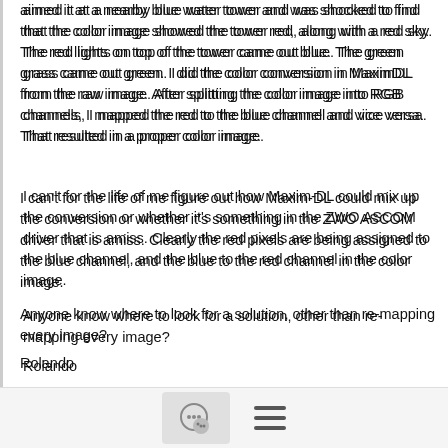aimed it at a nearby blue water tower and was shocked to find that the color image showed the tower red, along with a red sky. The red lights on top of the tower came out blue. The green grass came out green. I did the color conversion in MaximDL from the raw image. After splitting the color image into RGB channels, I mapped the red to the blue channel and vice versa. That resulted in a proper color image.
I can't for the life of me figure out how Maxim-DL could mix up the conversion or whether it's something in the ZWO ASCOM driver that is amiss. Clearly the red pixels are being assigned to the blue channel, and the blue to the red channel in the color image.
Anyone know where to look for a solution, other than re-mapping every image?
Rolando
--
Roland Christen
Astro-Physics
[Figure (other): Footer navigation bar with chat bubble icon in a rounded box and a hamburger menu icon]